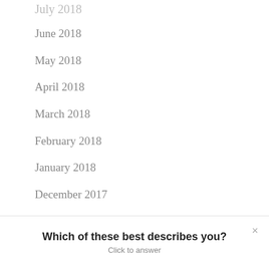June 2018
May 2018
April 2018
March 2018
February 2018
January 2018
December 2017
November 2017
Which of these best describes you?
Click to answer